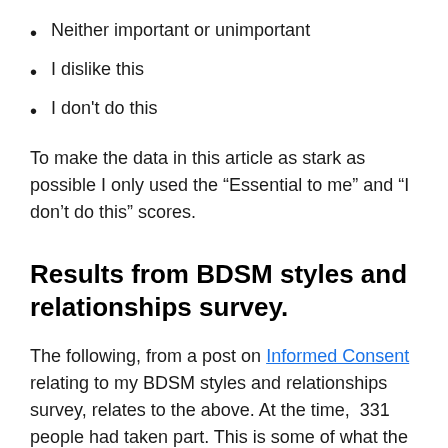Neither important or unimportant
I dislike this
I don't do this
To make the data in this article as stark as possible I only used the “Essential to me” and “I don’t do this” scores.
Results from BDSM styles and relationships survey.
The following, from a post on Informed Consent relating to my BDSM styles and relationships survey, relates to the above. At the time,  331 people had taken part. This is some of what the